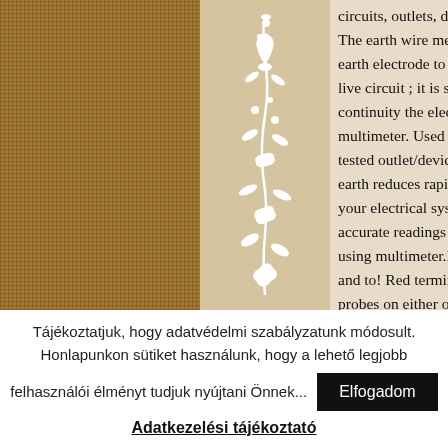[Figure (photo): Woven burlap or fabric texture in brown/tan tones, close-up photograph]
[Figure (illustration): Decorative white floral vine ornament on a beige/tan background]
circuits, outlets, d... The earth wire mea... earth electrode to ... live circuit ; it is sim... continuity the elec... multimeter. Used t... tested outlet/devic... earth reduces rapid... your electrical syst... accurate readings f... using multimeter.l... and to! Red termina... probes on either of...
Tájékoztatjuk, hogy adatvédelmi szabályzatunk módosult. Honlapunkon sütiket használunk, hogy a lehető legjobb felhasználói élményt tudjuk nyújtani Önnek...
Elfogadom
Adatkezelési tájékoztató